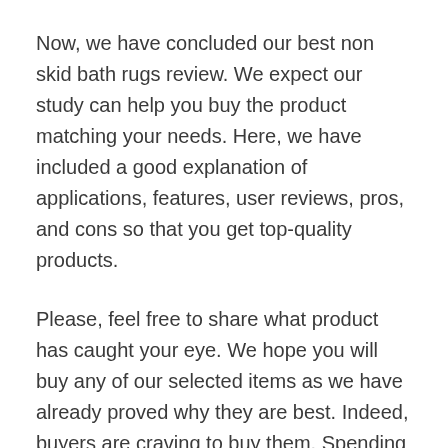Now, we have concluded our best non skid bath rugs review. We expect our study can help you buy the product matching your needs. Here, we have included a good explanation of applications, features, user reviews, pros, and cons so that you get top-quality products.
Please, feel free to share what product has caught your eye. We hope you will buy any of our selected items as we have already proved why they are best. Indeed, buyers are craving to buy them. Spending time on other products in confusion may make you delay or miss the right purchase. So, make your life easier by picking the right product from our list faster.